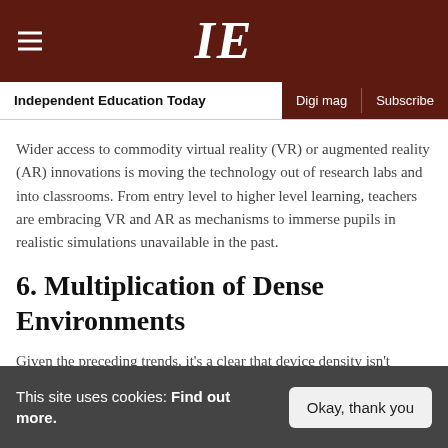IE — Independent Education Today
Wider access to commodity virtual reality (VR) or augmented reality (AR) innovations is moving the technology out of research labs and into classrooms. From entry level to higher level learning, teachers are embracing VR and AR as mechanisms to immerse pupils in realistic simulations unavailable in the past.
6. Multiplication of Dense Environments
Given the preceding trends, it's a clear that device density isn't limited to lecture halls anymore. Pupils
This site uses cookies: Find out more.